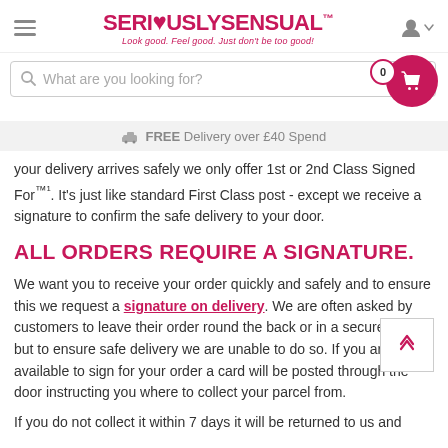SERI♥USLYSENSUAL™ — Look good. Feel good. Just don't be too good!
What are you looking for?
FREE Delivery over £40 Spend
your delivery arrives safely we only offer 1st or 2nd Class Signed For™¹. It's just like standard First Class post - except we receive a signature to confirm the safe delivery to your door.
ALL ORDERS REQUIRE A SIGNATURE.
We want you to receive your order quickly and safely and to ensure this we request a signature on delivery. We are often asked by customers to leave their order round the back or in a secure place, but to ensure safe delivery we are unable to do so. If you are not available to sign for your order a card will be posted through the door instructing you where to collect your parcel from.
If you do not collect it within 7 days it will be returned to us and